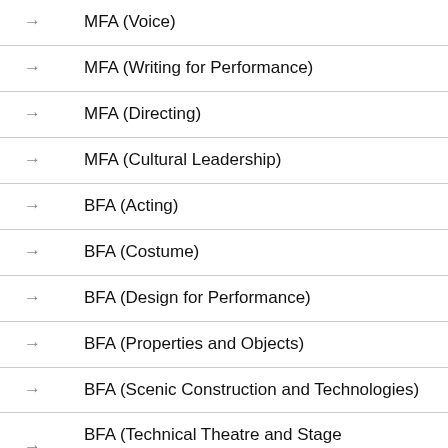MFA (Voice)
MFA (Writing for Performance)
MFA (Directing)
MFA (Cultural Leadership)
BFA (Acting)
BFA (Costume)
BFA (Design for Performance)
BFA (Properties and Objects)
BFA (Scenic Construction and Technologies)
BFA (Technical Theatre and Stage Management)
Diploma of Live Production and Technical Services
Diploma of Screen and Media (Specialist Make-up Services)
Diploma of Musical Theatre